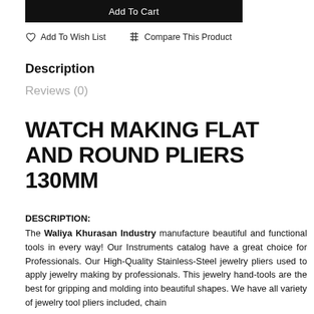[Figure (screenshot): Add To Cart button (dark/black background)]
Add To Wish List   Compare This Product
Description
Reviews (0)
WATCH MAKING FLAT AND ROUND PLIERS 130MM
DESCRIPTION:
The Waliya Khurasan Industry manufacture beautiful and functional tools in every way! Our Instruments catalog have a great choice for Professionals. Our High-Quality Stainless-Steel jewelry pliers used to apply jewelry making by professionals. This jewelry hand-tools are the best for gripping and molding into beautiful shapes. We have all variety of jewelry tool pliers included, chain nose pliers, bent nose pliers, round nose pliers, flat nose pliers and more.